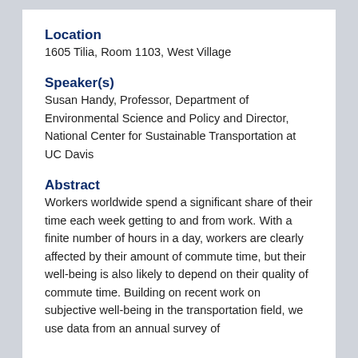Location
1605 Tilia, Room 1103, West Village
Speaker(s)
Susan Handy, Professor, Department of Environmental Science and Policy and Director, National Center for Sustainable Transportation at UC Davis
Abstract
Workers worldwide spend a significant share of their time each week getting to and from work. With a finite number of hours in a day, workers are clearly affected by their amount of commute time, but their well-being is also likely to depend on their quality of commute time. Building on recent work on subjective well-being in the transportation field, we use data from an annual survey of